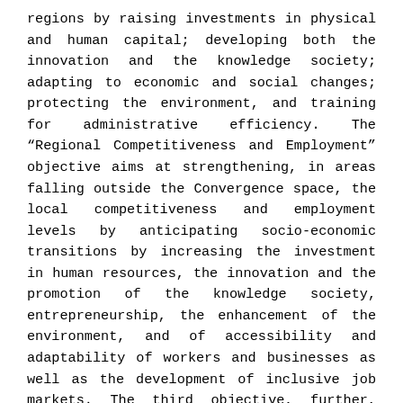regions by raising investments in physical and human capital; developing both the innovation and the knowledge society; adapting to economic and social changes; protecting the environment, and training for administrative efficiency. The “Regional Competitiveness and Employment” objective aims at strengthening, in areas falling outside the Convergence space, the local competitiveness and employment levels by anticipating socio-economic transitions by increasing the investment in human resources, the innovation and the promotion of the knowledge society, entrepreneurship, the enhancement of the environment, and of accessibility and adaptability of workers and businesses as well as the development of inclusive job markets. The third objective, further, aims at improving three different typologies of territorial cooperation: strengthening cross-border cooperation through joint, local and regional initiatives; transnational cooperation by means of actions conducive to integrated territorial development linked to EU priorities, as well as